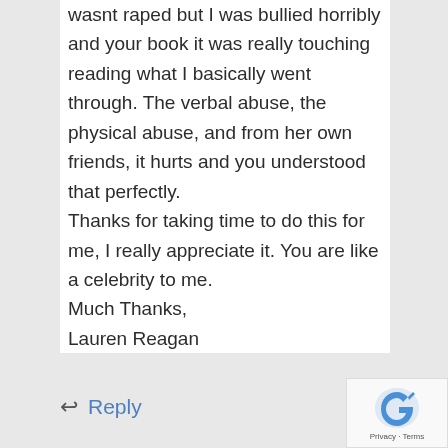wasnt raped but I was bullied horribly and your book it was really touching reading what I basically went through. The verbal abuse, the physical abuse, and from her own friends, it hurts and you understood that perfectly.
Thanks for taking time to do this for me, I really appreciate it. You are like a celebrity to me.
Much Thanks,
Lauren Reagan
Reply